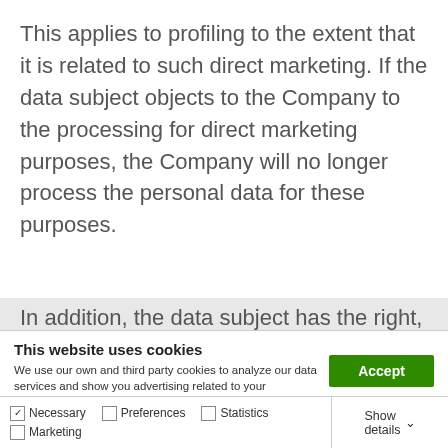This applies to profiling to the extent that it is related to such direct marketing. If the data subject objects to the Company to the processing for direct marketing purposes, the Company will no longer process the personal data for these purposes.
In addition, the data subject has the right,
This website uses cookies
We use our own and third party cookies to analyze our data services and show you advertising related to your preferences in based on a profile based on your browsing habits. You can obtain more information and configure your preferences here.
Accept
Necessary  Preferences  Statistics  Marketing  Show details